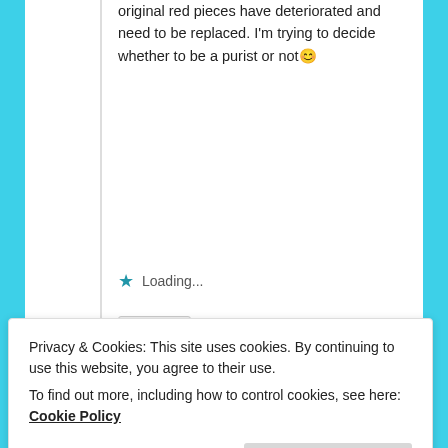original red pieces have deteriorated and need to be replaced. I'm trying to decide whether to be a purist or not😊
Loading...
Reply ↓
Jan Thomas on April 21, 2016 at 12:17
Privacy & Cookies: This site uses cookies. By continuing to use this website, you agree to their use.
To find out more, including how to control cookies, see here: Cookie Policy
Close and accept
can likely help with fabric. Except, it